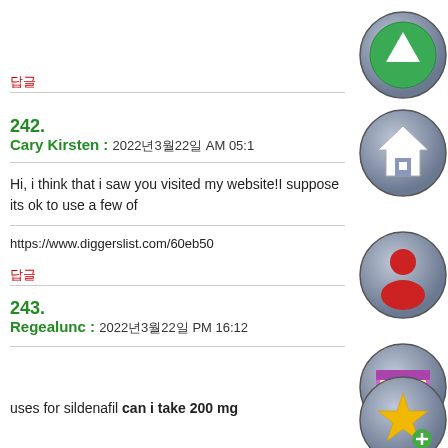답글
242.
Cary Kirsten : 2022년3월22일 AM 05:1
Hi, i think that i saw you visited my website!I suppose its ok to use a few of
https://www.diggerslist.com/60eb50
답글
243.
Regealunc : 2022년3월22일 PM 16:12
uses for sildenafil can i take 200 mg